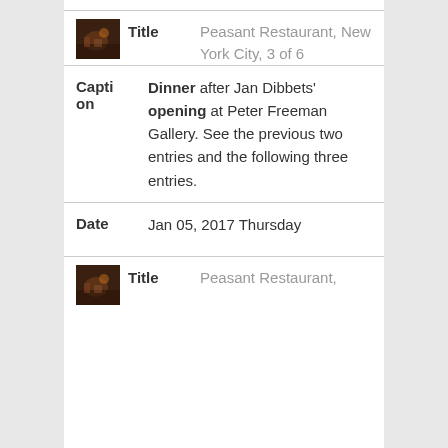[Figure (photo): Small thumbnail photo of a dinner scene at Peasant Restaurant, dark warm tones]
Peasant Restaurant, New York City, 3 of 6
Dinner after Jan Dibbets' opening at Peter Freeman Gallery. See the previous two entries and the following three entries.
Date: Jan 05, 2017 Thursday
[Figure (photo): Small thumbnail photo of a dinner scene at Peasant Restaurant, dark warm tones]
Peasant Restaurant